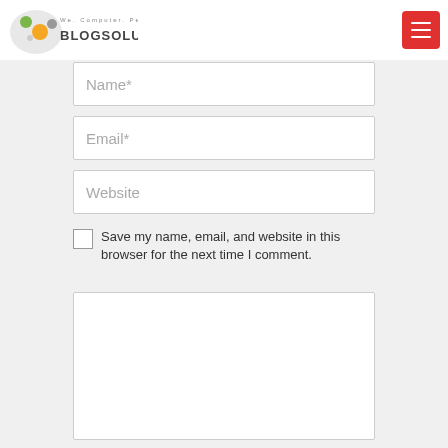[Figure (logo): Blogsolute logo with colorful icon and text 'We. Computer. People. BLOGSOLUTE']
[Figure (other): Red hamburger menu button in top right corner]
Name*
Email*
Website
Save my name, email, and website in this browser for the next time I comment.
(empty textarea/comment box)